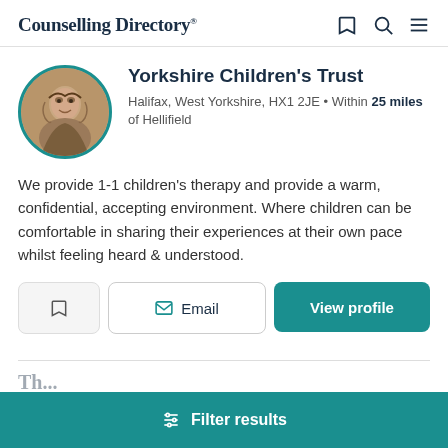Counselling Directory
Yorkshire Children's Trust
Halifax, West Yorkshire, HX1 2JE • Within 25 miles of Hellifield
We provide 1-1 children's therapy and provide a warm, confidential, accepting environment. Where children can be comfortable in sharing their experiences at their own pace whilst feeling heard & understood.
Email   View profile
Filter results